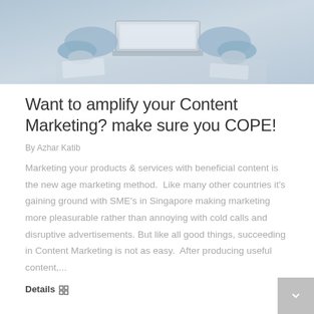[Figure (photo): Person sitting at a desk with a laptop, viewed from above, wearing blue/grey sleeves, with papers around the laptop.]
Want to amplify your Content Marketing? make sure you COPE!
By Azhar Katib
Marketing your products & services with beneficial content is the new age marketing method.  Like many other countries it's gaining ground with SME's in Singapore making marketing more pleasurable rather than annoying with cold calls and disruptive advertisements. But like all good things, succeeding in Content Marketing is not as easy.  After producing useful content,...
Details ⊠